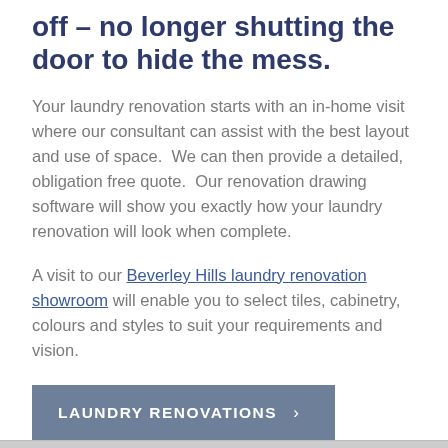off – no longer shutting the door to hide the mess.
Your laundry renovation starts with an in-home visit where our consultant can assist with the best layout and use of space.  We can then provide a detailed, obligation free quote.  Our renovation drawing software will show you exactly how your laundry renovation will look when complete.
A visit to our Beverley Hills laundry renovation showroom will enable you to select tiles, cabinetry, colours and styles to suit your requirements and vision.
LAUNDRY RENOVATIONS >